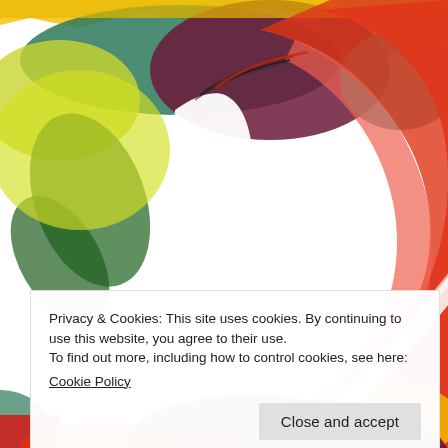[Figure (illustration): Colorful watercolor illustration of a woman's profile/silhouette facing right, composed of vibrant watercolor shapes in red, orange, yellow, green, purple, and teal colors suggesting hair and face.]
Privacy & Cookies: This site uses cookies. By continuing to use this website, you agree to their use.
To find out more, including how to control cookies, see here:
Cookie Policy
Close and accept